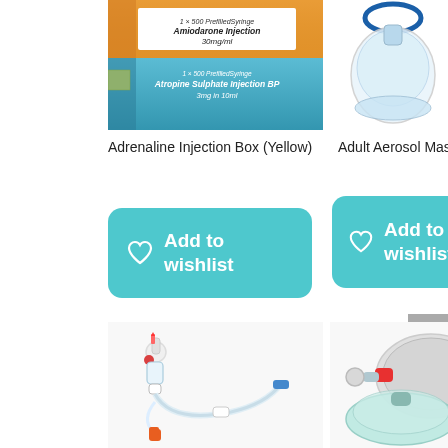[Figure (photo): Adrenaline Injection Box (Yellow) - stacked medical injection boxes, orange and teal colored packaging]
[Figure (photo): Adult Aerosol Mask - clear plastic aerosol/nebulizer mask with blue elastic strap]
Adrenaline Injection Box (Yellow)
Adult Aerosol Masks
[Figure (other): Add to wishlist button (teal rounded rectangle with heart icon) for Adrenaline Injection Box]
[Figure (other): Add to wishlist button (teal rounded rectangle with heart icon) for Adult Aerosol Masks]
[Figure (photo): IV drip set / infusion set with tubing, connectors and drip chamber]
[Figure (photo): Ambu bag / BVM resuscitator with clear face mask]